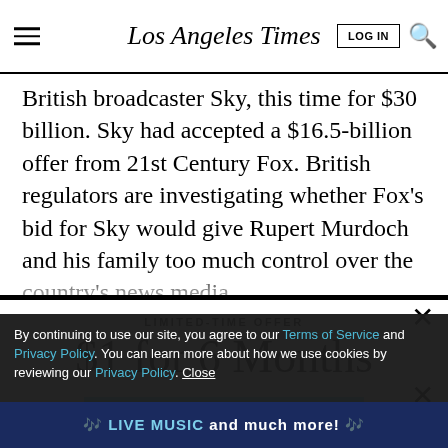Los Angeles Times
British broadcaster Sky, this time for $30 billion. Sky had accepted a $16.5-billion offer from 21st Century Fox. British regulators are investigating whether Fox's bid for Sky would give Rupert Murdoch and his family too much control over the country's news media.
LIMITED-TIME OFFER
$1 for 6 Months
SUBSCRIBE NOW
By continuing to use our site, you agree to our Terms of Service and Privacy Policy. You can learn more about how we use cookies by reviewing our Privacy Policy. Close